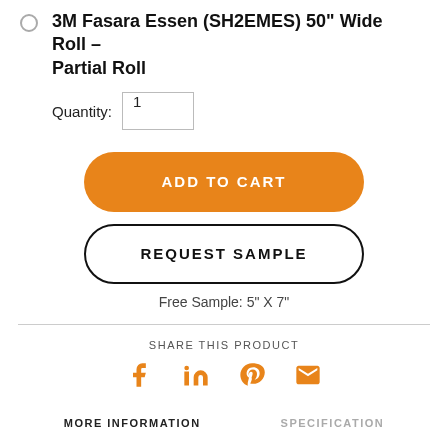3M Fasara Essen (SH2EMES) 50" Wide Roll – Partial Roll
Quantity: 1
ADD TO CART
REQUEST SAMPLE
Free Sample: 5" X 7"
SHARE THIS PRODUCT
[Figure (infographic): Social sharing icons: Facebook (f), LinkedIn (in), Pinterest (P), Email (envelope) in orange color]
MORE INFORMATION
SPECIFICATION